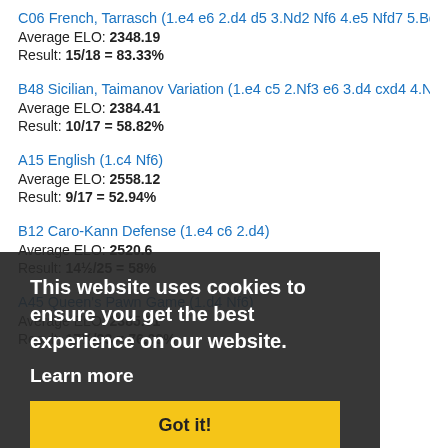C06 French, Tarrasch (1.e4 e6 2.d4 d5 3.Nd2 Nf6 4.e5 Nfd7 5.Bd3 c
Average ELO: 2348.19
Result: 15/18 = 83.33%
B48 Sicilian, Taimanov Variation (1.e4 c5 2.Nf3 e6 3.d4 cxd4 4.Nxd
Average ELO: 2384.41
Result: 10/17 = 58.82%
A15 English (1.c4 Nf6)
Average ELO: 2558.12
Result: 9/17 = 52.94%
This website uses cookies to ensure you get the best experience on our website.
Learn more
Got it!
B12 Caro-Kann Defense (1.e4 c6 2.d4)
Average ELO: 2520.6
Result: 14½/25 = 58%
A45 Queen's Pawn Game (1.d4 Nf6)
Average ELO: 2385.61
Result: 17½/23 = 76.09%